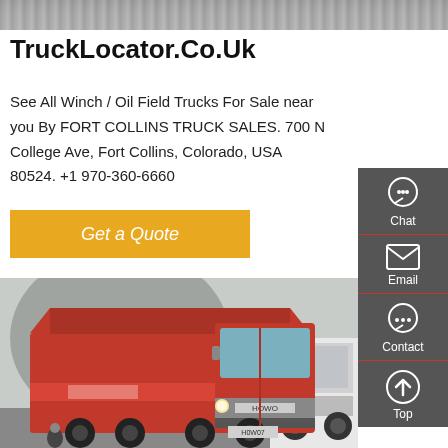[Figure (photo): Top portion of a road/pavement photo, cropped]
TruckLocator.Co.Uk
See All Winch / Oil Field Trucks For Sale near you By FORT COLLINS TRUCK SALES. 700 N College Ave, Fort Collins, Colorado, USA 80524. +1 970-360-6660
[Figure (other): Get a Quote button (orange/amber CTA button)]
[Figure (other): Side panel with Chat, Email, Contact, Top icons on dark grey background]
[Figure (photo): Red HOWO dump truck parked in front of a building, with a white truck partially visible on the right]